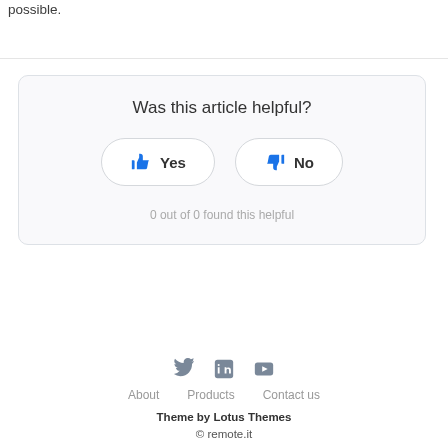possible.
[Figure (infographic): Feedback widget asking 'Was this article helpful?' with Yes (thumbs up) and No (thumbs down) buttons, and a count showing '0 out of 0 found this helpful']
About   Products   Contact us
Theme by Lotus Themes
© remote.it